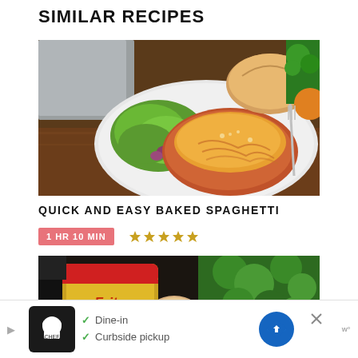SIMILAR RECIPES
[Figure (photo): A plate of baked spaghetti with melted cheese, side salad of green lettuce and red cabbage, and a piece of bread, on a white plate with a wooden background and fork visible.]
QUICK AND EASY BAKED SPAGHETTI
1 HR 10 MIN  ★★★★★
[Figure (photo): A Fritos snack bag and a dish with toppings, surrounded by fresh green cilantro/herbs.]
[Figure (other): Advertisement banner: Dine-in, Curbside pickup with a restaurant logo, map/navigation icon, close button, and Waze logo.]